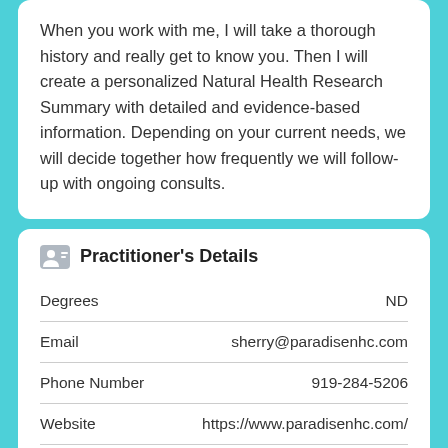When you work with me, I will take a thorough history and really get to know you. Then I will create a personalized Natural Health Research Summary with detailed and evidence-based information. Depending on your current needs, we will decide together how frequently we will follow-up with ongoing consults.
Practitioner's Details
| Field | Value |
| --- | --- |
| Degrees | ND |
| Email | sherry@paradisenhc.com |
| Phone Number | 919-284-5206 |
| Website | https://www.paradisenhc.com/ |
| Naturopathic Medical School | Bastyr University, Seattle |